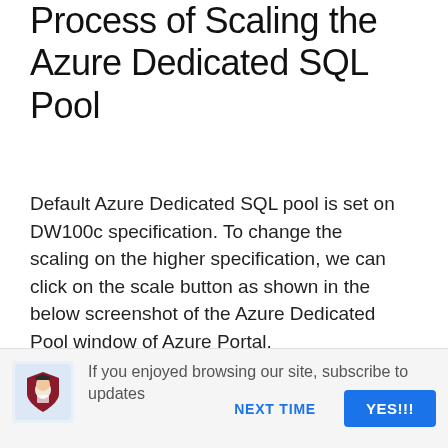Process of Scaling the Azure Dedicated SQL Pool
Default Azure Dedicated SQL pool is set on DW100c specification. To change the scaling on the higher specification, we can click on the scale button as shown in the below screenshot of the Azure Dedicated Pool window of Azure Portal.
If you enjoyed browsing our site, subscribe to updates